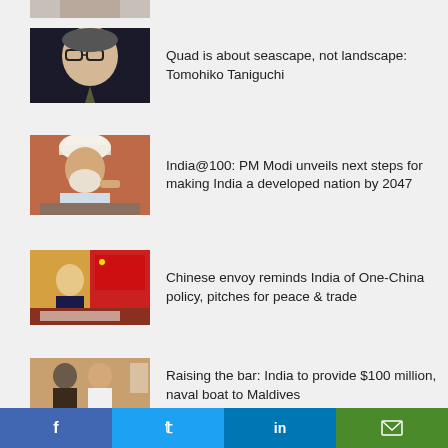[Figure (photo): Partial top image, cropped]
[Figure (photo): Photo of Tomohiko Taniguchi, man with glasses in dark suit]
Quad is about seascape, not landscape: Tomohiko Taniguchi
[Figure (photo): Photo of PM Modi in white turban at podium]
India@100: PM Modi unveils next steps for making India a developed nation by 2047
[Figure (photo): Photo of Chinese envoy at table with Chinese flag in background]
Chinese envoy reminds India of One-China policy, pitches for peace & trade
[Figure (photo): Photo of Indian PM Modi with Maldivian official, partially cropped]
Raising the bar: India to provide $100 million, naval boat to Maldives
f  t  in  [email]